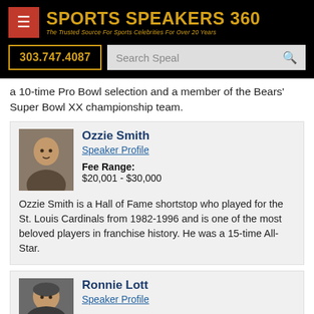SPORTS SPEAKERS 360 — The Trusted Source For Sports Celebrities For Over 20 Years | 303.747.4087
a 10-time Pro Bowl selection and a member of the Bears' Super Bowl XX championship team.
Ozzie Smith
Speaker Profile
Fee Range:
$20,001 - $30,000
Ozzie Smith is a Hall of Fame shortstop who played for the St. Louis Cardinals from 1982-1996 and is one of the most beloved players in franchise history. He was a 15-time All-Star.
Ronnie Lott
Speaker Profile